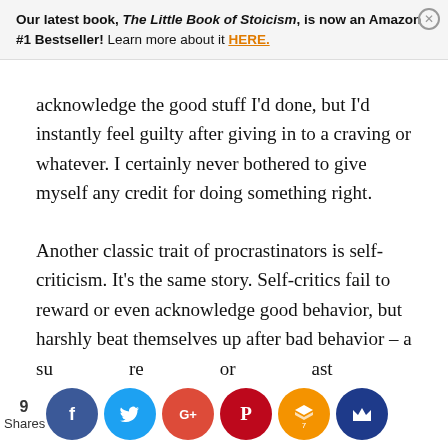Our latest book, The Little Book of Stoicism, is now an Amazon #1 Bestseller! Learn more about it HERE.
acknowledge the good stuff I'd done, but I'd instantly feel guilty after giving in to a craving or whatever. I certainly never bothered to give myself any credit for doing something right.
Another classic trait of procrastinators is self-criticism. It's the same story. Self-critics fail to reward or even acknowledge good behavior, but harshly beat themselves up after bad behavior – a su... re... or ast... n. research has shown that self-forgive...